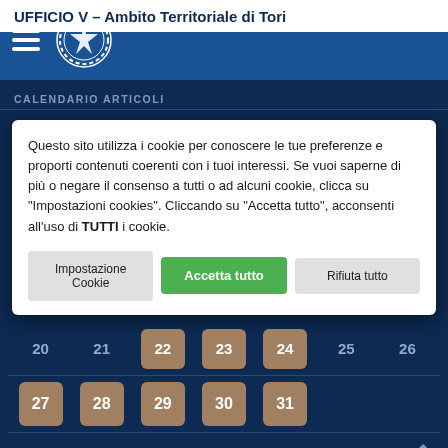UFFICIO V – Ambito Territoriale di Tori
CALENDARIO ARTICOLI
Questo sito utilizza i cookie per conoscere le tue preferenze e proporti contenuti coerenti con i tuoi interessi. Se vuoi saperne di più o negare il consenso a tutti o ad alcuni cookie, clicca su "Impostazioni cookies". Cliccando su "Accetta tutto", acconsenti all'uso di TUTTI i cookie.
Impostazione Cookie | Accetta tutto | Rifiuta tutto
| 20 | 21 | 22 | 23 | 24 | 25 | 26 |
| 27 | 28 | 29 | 30 | 31 |  |  |
« Giu   Ago »